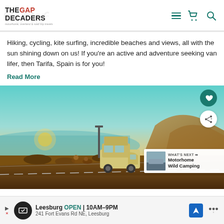THE GAP DECADERS - motorhome, overland & road trip travels
Hiking, cycling, kite surfing, incredible beaches and views, all with the sun shining down on us!  If you're an active and adventure seeking van lifer, then Tarifa, Spain is for you!
Read More
[Figure (photo): A vintage VW camper van parked by the coast at sunset with people sitting outside; mountains and ocean in the background. Social sharing icons (heart and share) visible. 'What's Next' panel showing Motorhome Wild Camping.]
WHAT'S NEXT → Motorhome Wild Camping
Leesburg OPEN 10AM–9PM 241 Fort Evans Rd NE, Leesburg